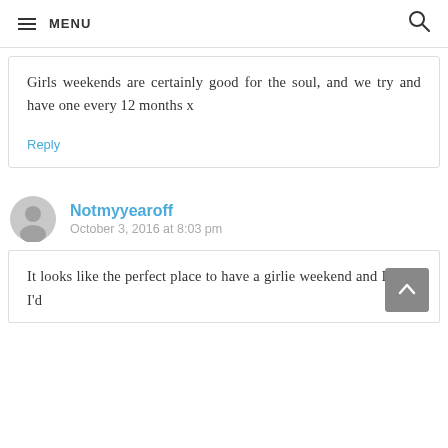MENU
Girls weekends are certainly good for the soul, and we try and have one every 12 months x
Reply
Notmyyearoff
October 3, 2016 at 8:03 pm
It looks like the perfect place to have a girlie weekend and I think I'd